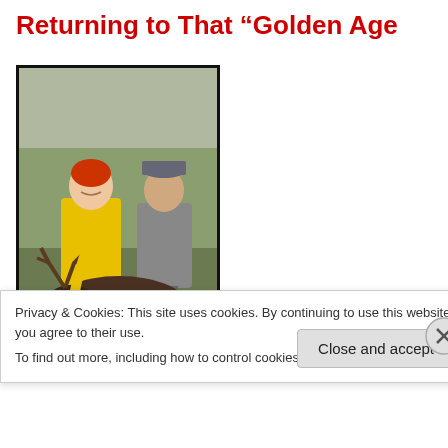Returning to That “Golden Age
[Figure (photo): Two people posing with a hunted moose/deer on a grassy field. The person on the left wears a yellow raincoat and the person on the right wears a grey outfit and hat.]
At any rate, we feel we need
Privacy & Cookies: This site uses cookies. By continuing to use this website, you agree to their use.
To find out more, including how to control cookies, see here: Cookie Policy
Close and accept